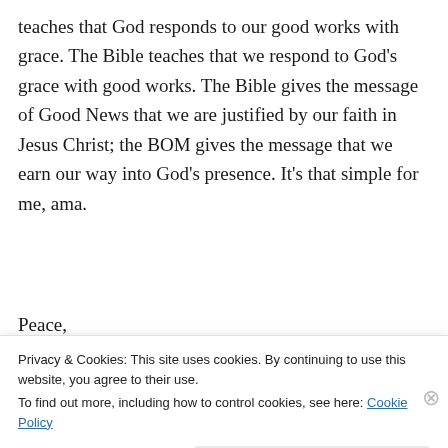teaches that God responds to our good works with grace. The Bible teaches that we respond to God's grace with good works. The Bible gives the message of Good News that we are justified by our faith in Jesus Christ; the BOM gives the message that we earn our way into God's presence. It's that simple for me, ama.
Peace,
jackg
★ Like
Privacy & Cookies: This site uses cookies. By continuing to use this website, you agree to their use.
To find out more, including how to control cookies, see here: Cookie Policy
Close and accept